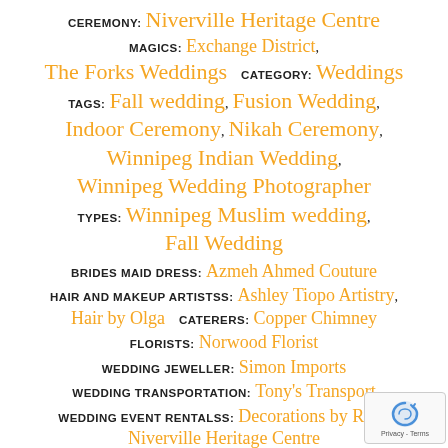CEREMONY: Niverville Heritage Centre
MAGICS: Exchange District,
The Forks Weddings   CATEGORY: Weddings
TAGS: Fall wedding, Fusion Wedding,
Indoor Ceremony, Nikah Ceremony,
Winnipeg Indian Wedding,
Winnipeg Wedding Photographer
TYPES: Winnipeg Muslim wedding,
Fall Wedding
BRIDES MAID DRESS: Azmeh Ahmed Couture
HAIR AND MAKEUP ARTISTSS: Ashley Tiopo Artistry, Hair by Olga   CATERERS: Copper Chimney
FLORISTS: Norwood Florist
WEDDING JEWELLER: Simon Imports
WEDDING TRANSPORTATION: Tony's Transport
WEDDING EVENT RENTALSS: Decorations by Rick,  Niverville Heritage Centre
HENNA ARTIST: Zee Henna Shoppe
WEDDING DRESS: House of Isaacs